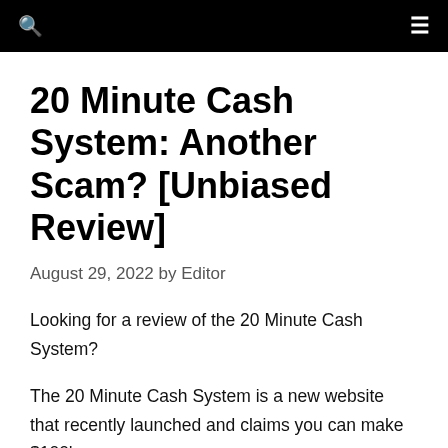20 Minute Cash System: Another Scam? [Unbiased Review]
August 29, 2022 by Editor
Looking for a review of the 20 Minute Cash System?
The 20 Minute Cash System is a new website that recently launched and claims you can make $100's